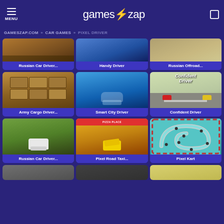MENU | games⚡zap | [search]
GAMESZAP.COM » CAR GAMES » PIXEL DRIVER
[Figure (screenshot): Grid of car game thumbnails: Russian Car Driver, Handy Driver, Russian Offroad, Army Cargo Driver, Smart City Driver, Confident Driver, Russian Car Driver, Pixel Road Taxi, Pixel Kart, plus 3 partial thumbnails at bottom]
Russian Car Driver...
Handy Driver
Russian Offroad...
Army Cargo Driver...
Smart City Driver
Confident Driver
Russian Car Driver...
Pixel Road Taxi...
Pixel Kart